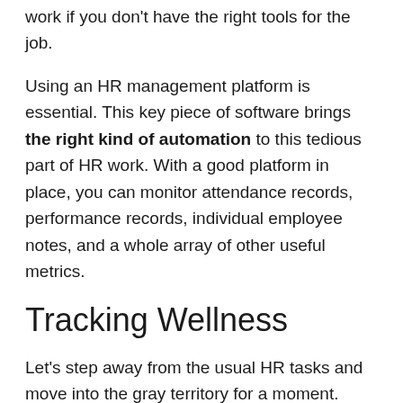work if you don't have the right tools for the job.
Using an HR management platform is essential. This key piece of software brings the right kind of automation to this tedious part of HR work. With a good platform in place, you can monitor attendance records, performance records, individual employee notes, and a whole array of other useful metrics.
Tracking Wellness
Let's step away from the usual HR tasks and move into the gray territory for a moment. Tracking employee wellness and satisfaction isn't exactly at the core of HR books and manuals. However, it has been proven time and time again that following this metric can show potential risks and help you manage your employees better.